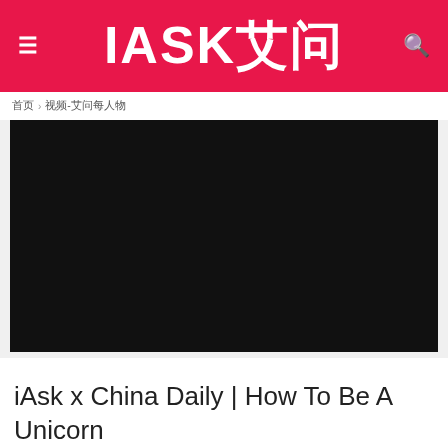IASK艾问
首页 › 视频-艾问每人物
[Figure (screenshot): Dark/black video player area embedded in the page]
iAsk x China Daily | How To Be A Unicorn